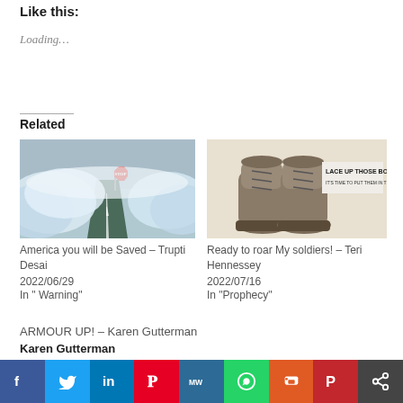Like this:
Loading…
Related
[Figure (photo): A road being overtaken by large ocean waves, with a stop sign in the background]
America you will be Saved – Trupti Desai
2022/06/29
In " Warning"
[Figure (photo): Worn military boots with text 'LACE UP THOSE BOOTS! IT'S TIME TO PUT THEM IN THE DIR']
Ready to roar My soldiers! – Teri Hennessey
2022/07/16
In "Prophecy"
ARMOUR UP! – Karen Gutterman
Karen Gutterman